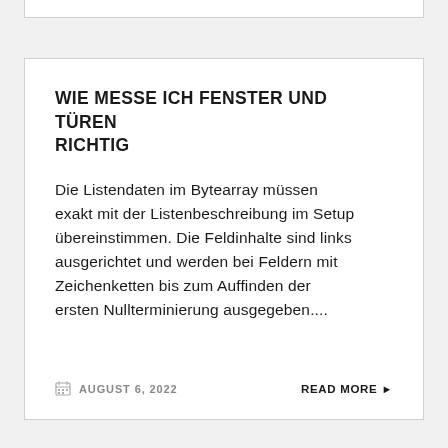WIE MESSE ICH FENSTER UND TÜREN RICHTIG
Die Listendaten im Bytearray müssen exakt mit der Listenbeschreibung im Setup übereinstimmen. Die Feldinhalte sind links ausgerichtet und werden bei Feldern mit Zeichenketten bis zum Auffinden der ersten Nullterminierung ausgegeben....
AUGUST 6, 2022    READ MORE ▶